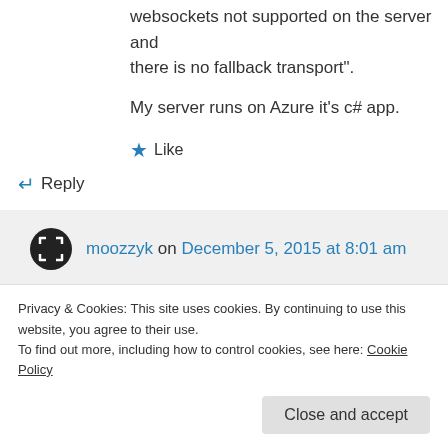websockets not supported on the server and there is no fallback transport".
My server runs on Azure it’s c# app.
★ Like
↵ Reply
moozzyk on December 5, 2015 at 8:01 am
AFAIR websockets are disabled by default on Azure. You need to turn it on in the
→ Reply
Privacy & Cookies: This site uses cookies. By continuing to use this website, you agree to their use.
To find out more, including how to control cookies, see here: Cookie Policy
Close and accept